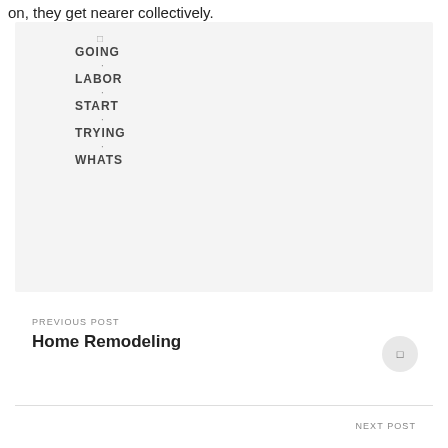on, they get nearer collectively.
[Figure (other): Tag cloud on grey background showing words: GOING, LABOR, START, TRYING, WHATS with small dot/tick separators between them]
PREVIOUS POST
Home Remodeling
NEXT POST